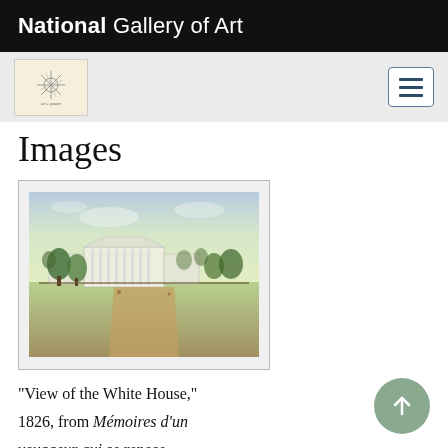National Gallery of Art
Images
[Figure (illustration): Watercolor painting: 'View of the White House,' 1826, from Mémoires d'un voyageur qui se repose. Shows a distant view of the White House with gardens, trees, and an open landscape under a pale sky.]
"View of the White House," 1826, from Mémoires d'un voyageur qui se repose